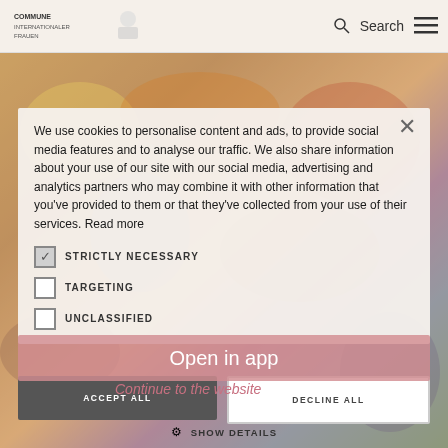Search [navigation header with logo and hamburger menu]
To 888 sq. ft. of exhibition space and twin theater seating [partially visible]
[Figure (screenshot): Colorful painting/mural visible in background behind cookie consent overlay]
We use cookies to personalise content and ads, to provide social media features and to analyse our traffic. We also share information about your use of our site with our social media, advertising and analytics partners who may combine it with other information that you've provided to them or that they've collected from your use of their services. Read more
STRICTLY NECESSARY
TARGETING
UNCLASSIFIED
Open in app
Continue to the website
ACCEPT ALL
DECLINE ALL
SHOW DETAILS